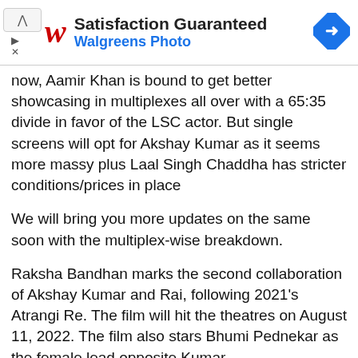[Figure (screenshot): Walgreens Photo advertisement banner with red cursive W logo, bold title 'Satisfaction Guaranteed', blue subtitle 'Walgreens Photo', and blue diamond navigation icon on the right.]
now, Aamir Khan is bound to get better showcasing in multiplexes all over with a 65:35 divide in favor of the LSC actor. But single screens will opt for Akshay Kumar as it seems more massy plus Laal Singh Chaddha has stricter conditions/prices in place
We will bring you more updates on the same soon with the multiplex-wise breakdown.
Raksha Bandhan marks the second collaboration of Akshay Kumar and Rai, following 2021's Atrangi Re. The film will hit the theatres on August 11, 2022. The film also stars Bhumi Pednekar as the female lead opposite Kumar.